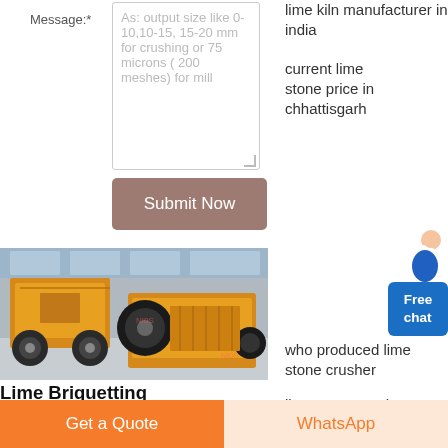Message:*
As: output size like 0-10,10-15, 15-20 mm for crushing or 75 microns ( 200 meshes) for mill
Submit Now
[Figure (photo): Two yellow industrial machines (lime briquetting/crushing equipment) on a factory floor]
Lime Briquetting Machine,Lime Briquette Making Machine
lime kiln manufacturer in india
current lime stone price in chhattisgarh
who produced lime stone crusher
lime stone crusher ppt
lime mining
Free chat
Get a Quote | WhatsApp